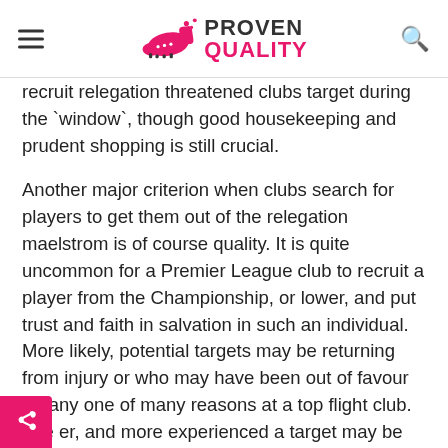PROVEN QUALITY
recruit relegation threatened clubs target during the `window`, though good housekeeping and prudent shopping is still crucial.
Another major criterion when clubs search for players to get them out of the relegation maelstrom is of course quality. It is quite uncommon for a Premier League club to recruit a player from the Championship, or lower, and put trust and faith in salvation in such an individual. More likely, potential targets may be returning from injury or who may have been out of favour for any one of many reasons at a top flight club. The er, and more experienced a target may be the re they are likely to cost but, paradoxically, the